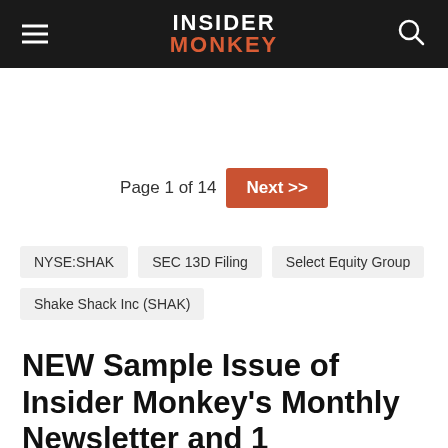INSIDER MONKEY
Page 1 of 14  Next >>
NYSE:SHAK
SEC 13D Filing
Select Equity Group
Shake Shack Inc (SHAK)
NEW Sample Issue of Insider Monkey's Monthly Newsletter and 1